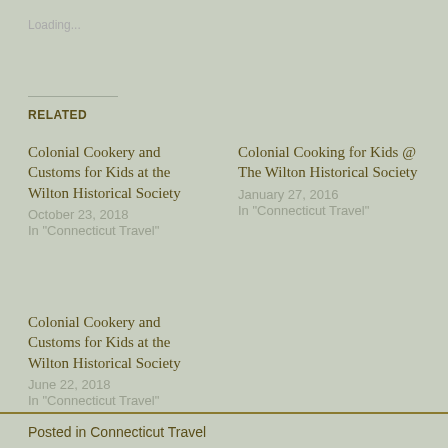Loading...
RELATED
Colonial Cookery and Customs for Kids at the Wilton Historical Society
October 23, 2018
In "Connecticut Travel"
Colonial Cooking for Kids @ The Wilton Historical Society
January 27, 2016
In "Connecticut Travel"
Colonial Cookery and Customs for Kids at the Wilton Historical Society
June 22, 2018
In "Connecticut Travel"
Posted in Connecticut Travel